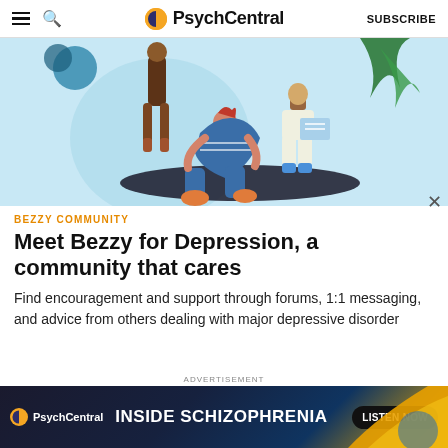PsychCentral | SUBSCRIBE
[Figure (illustration): Illustration of people in a support group setting with light blue background, plants, and figures sitting/standing]
BEZZY COMMUNITY
Meet Bezzy for Depression, a community that cares
Find encouragement and support through forums, 1:1 messaging, and advice from others dealing with major depressive disorder
[Figure (infographic): PsychCentral advertisement banner: INSIDE SCHIZOPHRENIA – LISTEN NOW]